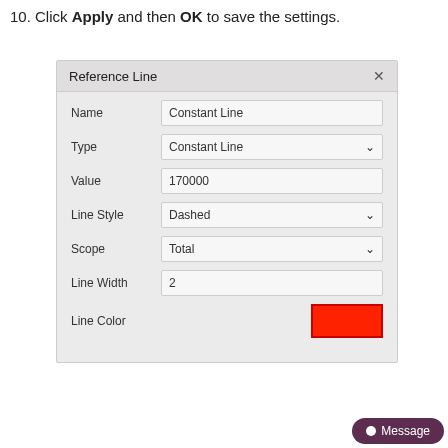10. Click Apply and then OK to save the settings.
[Figure (screenshot): Reference Line dialog box showing fields: Name (Constant Line), Type (Constant Line dropdown), Value (170000), Line Style (Dashed dropdown), Scope (Total dropdown), Line Width (2), Line Color (red color swatch)]